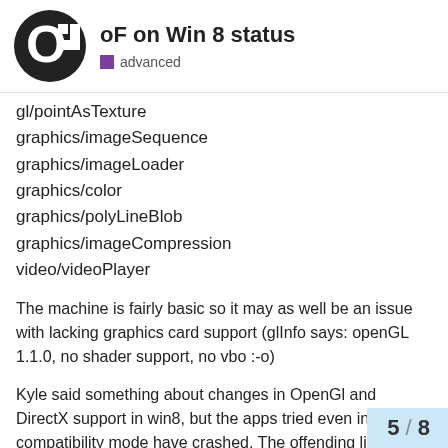oF on Win 8 status — advanced
gl/pointAsTexture
graphics/imageSequence
graphics/imageLoader
graphics/color
graphics/polyLineBlob
graphics/imageCompression
video/videoPlayer
The machine is fairly basic so it may as well be an issue with lacking graphics card support (glInfo says: openGL 1.1.0, no shader support, no vbo :-o)
Kyle said something about changes in OpenGl and DirectX support in win8, but the apps tried even in XP compatibility mode have crashed. The offending line is ofImage::draw so seems likely.
How can I get more useful debug info when compiler says nothing?
5 / 8